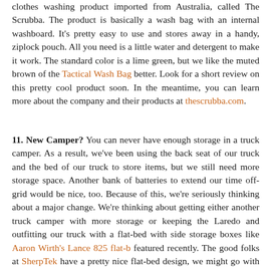clothes washing product imported from Australia, called The Scrubba. The product is basically a wash bag with an internal washboard. It's pretty easy to use and stores away in a handy, ziplock pouch. All you need is a little water and detergent to make it work. The standard color is a lime green, but we like the muted brown of the Tactical Wash Bag better. Look for a short review on this pretty cool product soon. In the meantime, you can learn more about the company and their products at thescrubba.com.
11. New Camper? You can never have enough storage in a truck camper. As a result, we've been using the back seat of our truck and the bed of our truck to store items, but we still need more storage space. Another bank of batteries to extend our time off-grid would be nice, too. Because of this, we're seriously thinking about a major change. We're thinking about getting either another truck camper with more storage or keeping the Laredo and outfitting our truck with a flat-bed with side storage boxes like Aaron Wirth's Lance 825 flat-b… featured recently. The good folks at SherpTek have a pretty nice flat-bed design, we might go with them. Stay tuned on this